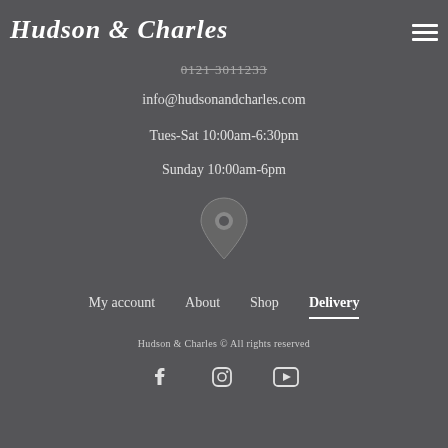Hudson & Charles
0121 3011233
info@hudsonandcharles.com
Tues-Sat 10:00am-6:30pm
Sunday 10:00am-6pm
[Figure (illustration): Map pin / location marker icon]
My account   About   Shop   Delivery
Hudson & Charles © All rights reserved
[Figure (illustration): Social media icons: Facebook, Instagram, YouTube]